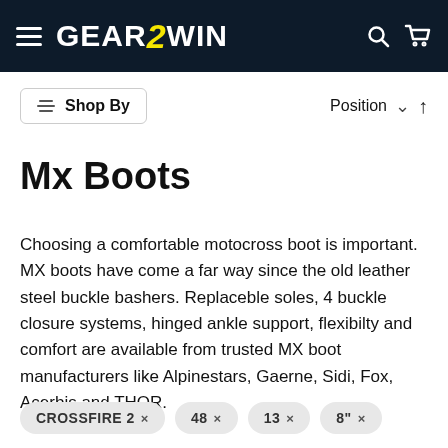GEAR2WIN
Shop By
Position ∨ ↑
Mx Boots
Choosing a comfortable motocross boot is important. MX boots have come a far way since the old leather steel buckle bashers. Replaceble soles, 4 buckle closure systems, hinged ankle support, flexibilty and comfort are available from trusted MX boot manufacturers like Alpinestars, Gaerne, Sidi, Fox, Acerbis and THOR.
CROSSFIRE 2 ×
48 ×
13 ×
8" ×